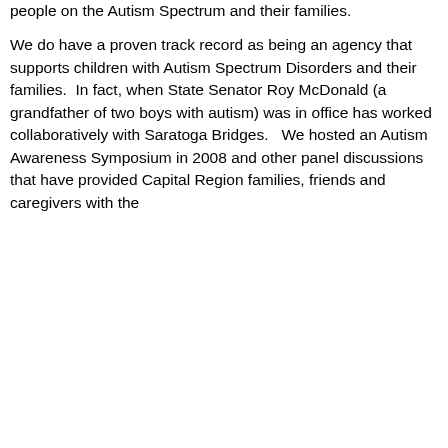resolve of offering the highest level of services to people on the Autism Spectrum and their families.
We do have a proven track record as being an agency that supports children with Autism Spectrum Disorders and their families.  In fact, when State Senator Roy McDonald (a grandfather of two boys with autism) was in office has worked collaboratively with Saratoga Bridges.   We hosted an Autism Awareness Symposium in 2008 and other panel discussions that have provided Capital Region families, friends and caregivers with the